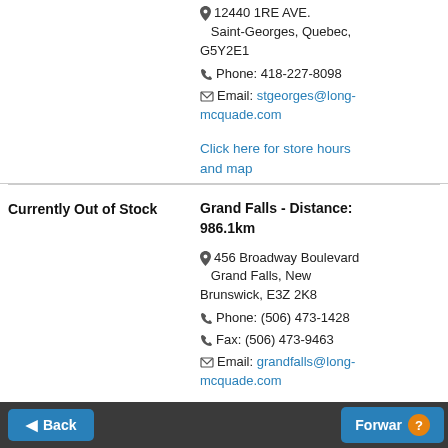📍 12440 1RE AVE. Saint-Georges, Quebec, G5Y2E1
📞 Phone: 418-227-8098
✉ Email: stgeorges@long-mcquade.com
Click here for store hours and map
Currently Out of Stock
Grand Falls - Distance: 986.1km
📍 456 Broadway Boulevard Grand Falls, New Brunswick, E3Z 2K8
📞 Phone: (506) 473-1428
📞 Fax: (506) 473-9463
✉ Email: grandfalls@long-mcquade.com
Back | Forward